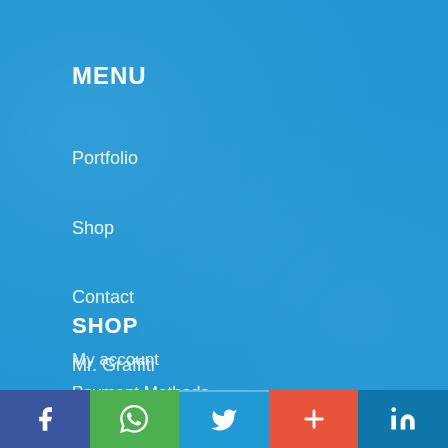MENU
Portfolio
Shop
Contact
Mr. Graffiti
Algemene voorwaarden Graffiti
SHOP
My account
Payment Methods
[Figure (infographic): Social media share bar with icons: Facebook (blue), WhatsApp (green), Twitter (blue), Google+ (orange-red), LinkedIn (dark blue)]